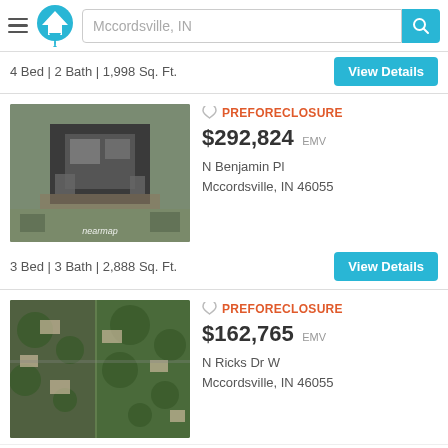Mccordsville, IN
4 Bed | 2 Bath | 1,998 Sq. Ft.
[Figure (photo): Aerial/satellite view of a house property with a nearmap watermark]
PREFORECLOSURE $292,824 EMV
N Benjamin Pl
Mccordsville, IN 46055
3 Bed | 3 Bath | 2,888 Sq. Ft.
[Figure (photo): Aerial/satellite view of a neighborhood with trees and houses]
PREFORECLOSURE $162,765 EMV
N Ricks Dr W
Mccordsville, IN 46055
3 Bed | 2 Bath | 1,519 Sq. Ft.